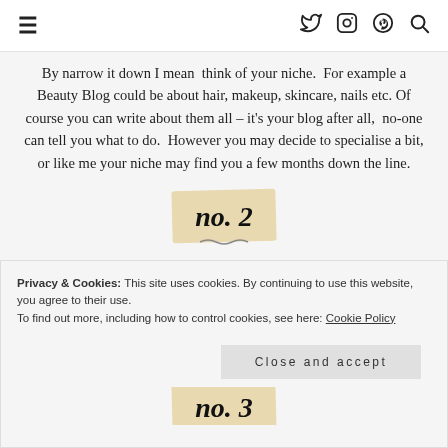≡  [twitter] [instagram] [pinterest] [search]
By narrow it down I mean  think of your niche.  For example a Beauty Blog could be about hair, makeup, skincare, nails etc. Of course you can write about them all – it's your blog after all,  no-one can tell you what to do.  However you may decide to specialise a bit, or like me your niche may find you a few months down the line.
[Figure (illustration): Stylized badge with handwritten script text reading 'no. 2' on a beige/tan background with decorative wavy underline]
Think of a name for your blog and how often do you intend to post?  I think it's a good idea and discipline for you to set your self a posting day, that day your readers will know when to expect new content. (I
Privacy & Cookies: This site uses cookies. By continuing to use this website, you agree to their use.
To find out more, including how to control cookies, see here: Cookie Policy
Close and accept
[Figure (illustration): Partial view of another stylized badge similar to 'no.2', partially visible at the bottom of the page]